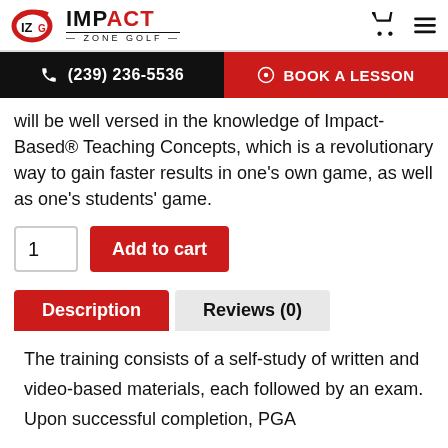Impact Zone Golf
(239) 236-5536 | BOOK A LESSON
will be well versed in the knowledge of Impact-Based® Teaching Concepts, which is a revolutionary way to gain faster results in one's own game, as well as one's students' game.
1  Add to cart
Description | Reviews (0)
The training consists of a self-study of written and video-based materials, each followed by an exam. Upon successful completion, PGA